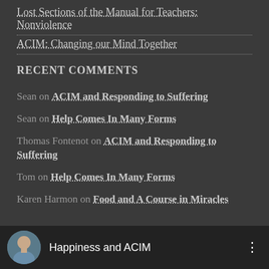Lost Sections of the Manual for Teachers: Nonviolence
ACIM: Changing our Mind Together
RECENT COMMENTS
Sean on ACIM and Responding to Suffering
Sean on Help Comes In Many Forms
Thomas Fontenot on ACIM and Responding to Suffering
Tom on Help Comes In Many Forms
Karen Harmon on Food and A Course in Miracles
[Figure (screenshot): Video thumbnail bar showing a person avatar and title 'Happiness and ACIM' with a three-dot menu icon on dark background]